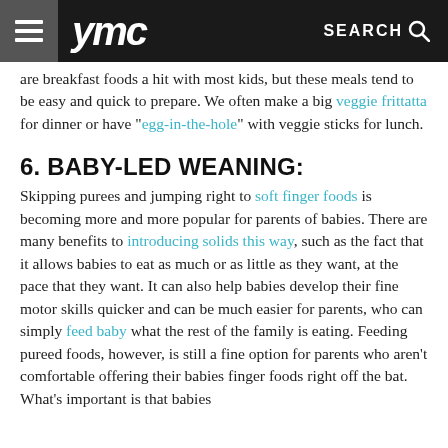ymc  SEARCH
are breakfast foods a hit with most kids, but these meals tend to be easy and quick to prepare. We often make a big veggie frittatta for dinner or have "egg-in-the-hole" with veggie sticks for lunch.
6. BABY-LED WEANING:
Skipping purees and jumping right to soft finger foods is becoming more and more popular for parents of babies. There are many benefits to introducing solids this way, such as the fact that it allows babies to eat as much or as little as they want, at the pace that they want. It can also help babies develop their fine motor skills quicker and can be much easier for parents, who can simply feed baby what the rest of the family is eating. Feeding pureed foods, however, is still a fine option for parents who aren't comfortable offering their babies finger foods right off the bat. What's important is that babies